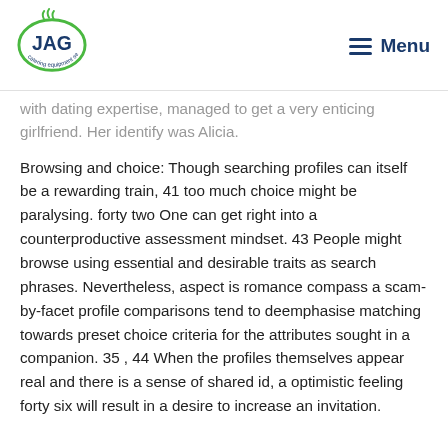[Figure (logo): JAG Catering Equipment Services logo — green oval with steam rising, text 'JAG' in blue inside oval, arc text 'catering equipment services' below]
≡  Menu
with dating expertise, managed to get a very enticing girlfriend. Her identify was Alicia.
Browsing and choice: Though searching profiles can itself be a rewarding train, 41 too much choice might be paralysing. forty two One can get right into a counterproductive assessment mindset. 43 People might browse using essential and desirable traits as search phrases. Nevertheless, aspect is romance compass a scam-by-facet profile comparisons tend to deemphasise matching towards preset choice criteria for the attributes sought in a companion. 35 , 44 When the profiles themselves appear real and there is a sense of shared id, a optimistic feeling forty six will result in a desire to increase an invitation.